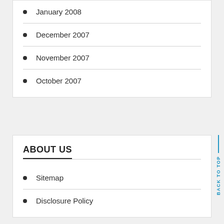January 2008
December 2007
November 2007
October 2007
ABOUT US
Sitemap
Disclosure Policy